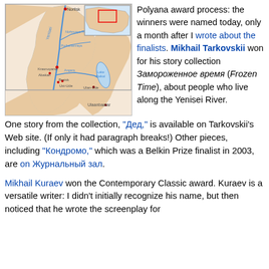[Figure (map): Map of Yenisei River basin in Russia, showing the river and its tributaries (Nizhnyaya Tunguska, Podkamennaya Tunguska, Angara), with cities like Norilsk, Krasnoyarsk, Abakan, Bratsk, Ust-Ude, Ulan-Ude, Ulaanbaatar, and Lake Baikal. A small inset locator map in the top-right corner shows the region's location in Asia, with a red rectangle.]
Polyana award process: the winners were named today, only a month after I wrote about the finalists. Mikhail Tarkovskii won for his story collection Замороженное время (Frozen Time), about people who live along the Yenisei River.
One story from the collection, "Дед," is available on Tarkovskii's Web site. (If only it had paragraph breaks!) Other pieces, including "Кондромо," which was a Belkin Prize finalist in 2003, are on Журнальный зал.
Mikhail Kuraev won the Contemporary Classic award. Kuraev is a versatile writer: I didn't initially recognize his name, but then noticed that he wrote the screenplay for